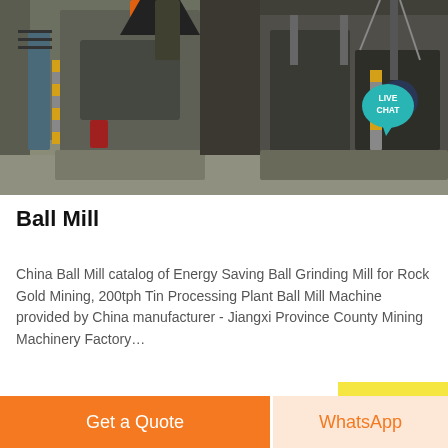[Figure (photo): Industrial ball mill machinery in a factory setting, showing large metal grinding equipment with yellow safety markers, pipes, and structural supports]
Ball Mill
China Ball Mill catalog of Energy Saving Ball Grinding Mill for Rock Gold Mining, 200tph Tin Processing Plant Ball Mill Machine provided by China manufacturer - Jiangxi Province County Mining Machinery Factory…